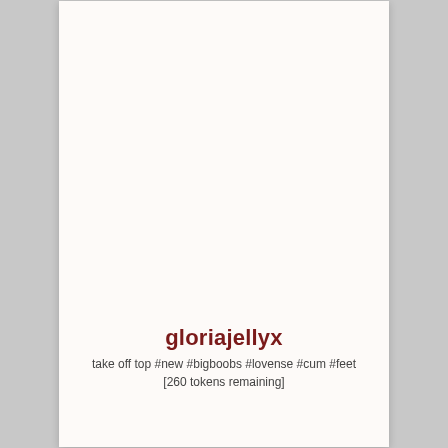gloriajellyx
take off top #new #bigboobs #lovense #cum #feet [260 tokens remaining]